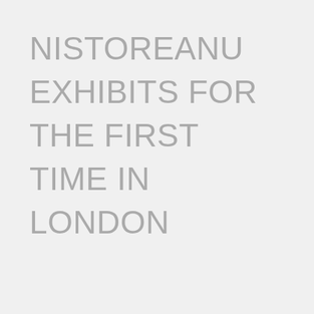NISTOREANU EXHIBITS FOR THE FIRST TIME IN LONDON